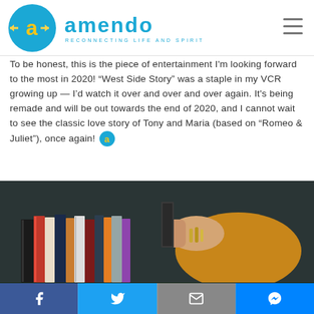[Figure (logo): Amendo logo: teal circle with yellow 'a' arrow icon, teal 'amendo' wordmark, tagline 'RECONNECTING LIFE AND SPIRIT']
To be honest, this is the piece of entertainment I'm looking forward to the most in 2020! “West Side Story” was a staple in my VCR growing up — I’d watch it over and over and over again. It's being remade and will be out towards the end of 2020, and I cannot wait to see the classic love story of Tony and Maria (based on “Romeo & Juliet”), once again!
[Figure (photo): A person in a mustard yellow sweater with gold bracelets pulling a book from a shelf filled with various books, set against a dark background.]
Facebook | Twitter | Email | Messenger sharing buttons